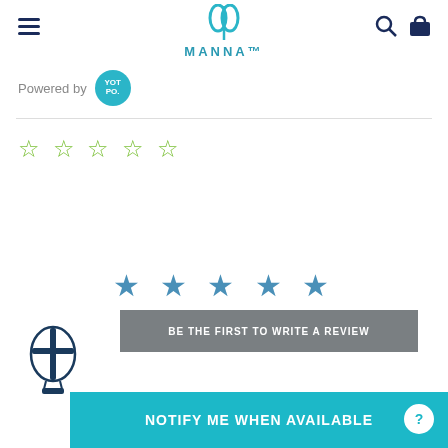[Figure (logo): Manna brand logo with teal water drop icon and MANNA text]
Powered by YOT PO.
[Figure (other): Five empty green star outlines rating]
[Figure (other): Five filled blue stars rating]
BE THE FIRST TO WRITE A REVIEW
[Figure (logo): Hot air balloon icon in dark teal/navy]
NOTIFY ME WHEN AVAILABLE